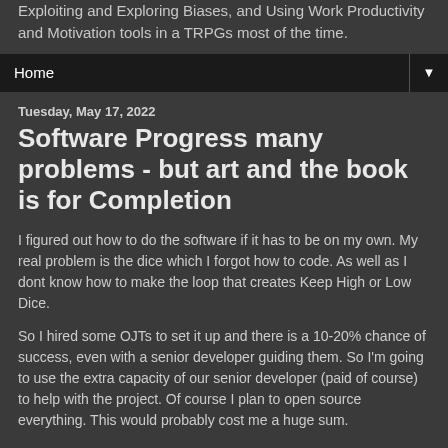Exploiting and Exploring Biases, and Using Work Productivity and Motivation tools in a TRPGs most of the time.
Home ▼
Tuesday, May 17, 2022
Software Progress many problems - but art and the book is for Completion
I figured out how to do the software if it has to be on my own. My real problem is the dice which I forgot how to code. As well as I dont know how to make the loop that creates Keep High or Low Dice.
So I hired some OJTs to set it up and there is a 10-20% chance of success, even with a senior developer guiding them. So I'm going to use the extra capacity of our senior developer (paid of course) to help with the project. Of course I plan to open source everything. This would probably cost me a huge sum.